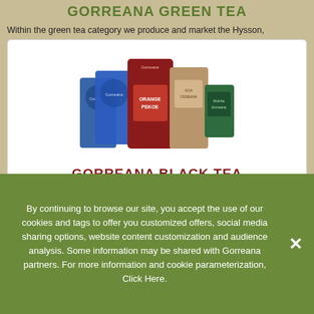GORREANA GREEN TEA
Within the green tea category we produce and market the Hysson,
[Figure (photo): Product photo showing multiple Gorreana tea packages arranged together including blue, dark red/maroon, and other colored packaging, with GORREANA BLACK TEA title below]
GORREANA BLACK TEA
Within the black tea we produce and market the varieties, Moinha,
By continuing to browse our site, you accept the use of our cookies and tags to offer you customized offers, social media sharing options, website content customization and audience analysis. Some information may be shared with Gorreana partners. For more information and cookie parameterization, Click Here.